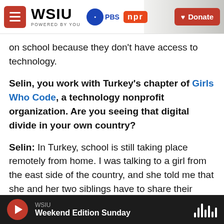WSIU | POWERED BY YOU | PBS | NPR | Donate
on school because they don't have access to technology.
Selin, you work with Turkey's chapter of Girls Who Code, a technology nonprofit organization. Are you seeing that digital divide in your own country?
Selin: In Turkey, school is still taking place remotely from home. I was talking to a girl from the east side of the country, and she told me that she and her two siblings have to share their mother and father's mobile phones to enter their online classes. And their access to the internet is very limited. Because
WSIU | Weekend Edition Sunday